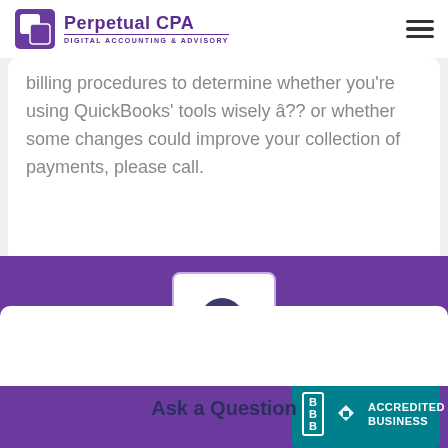Perpetual CPA — Digital Accounting & Advisory
billing procedures to determine whether you're using QuickBooks' tools wisely â?? or whether some changes could improve your collection of payments, please call.
[Figure (illustration): Purple section with a question mark speech bubble icon in a white card with purple border, a white wing-shaped background, 'Ask a Question' label, and a BBB Accredited Business badge in teal on the right.]